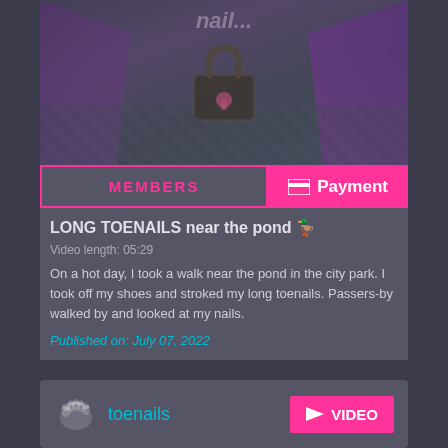[Figure (photo): Photo of feet/hands with long purple toenails and fingernails near a pond, overlaid with a lock icon indicating members-only content]
MEMBERS
Payment
LONG TOENAILS near the pond 🦆
Video length: 05:29
On a hot day, I took a walk near the pond in the city park. I took off my shoes and stroked my long toenails. Passers-by walked by and looked at my nails.
Published on: July 07, 2022
toenails
VIDEO